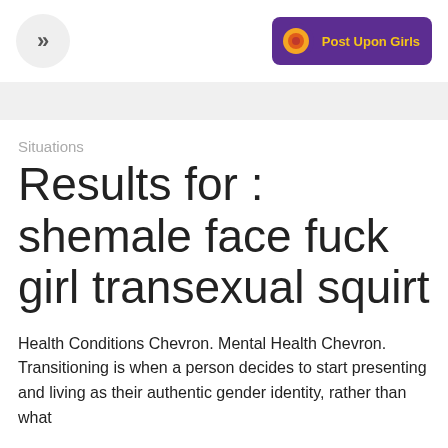[Figure (logo): Navigation button (chevron >>) on left, and a purple logo badge with orange/yellow circular icon and text 'Post Upon Girls' on right]
Situations
Results for : shemale face fuck girl transexual squirt
Health Conditions Chevron. Mental Health Chevron. Transitioning is when a person decides to start presenting and living as their authentic gender identity, rather than what